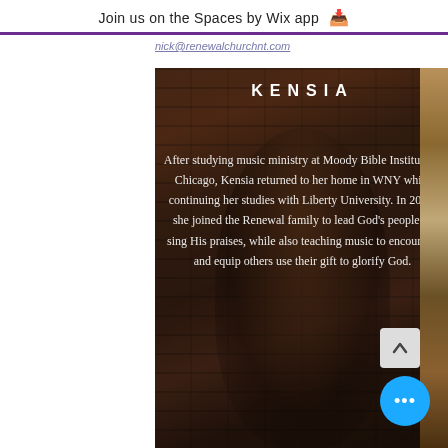Join us on the Spaces by Wix app ⬇
nick@renewalchurchnt.com
[Figure (photo): A woman named Kensia standing in front of a brick wall, overlaid with text about her background in music ministry.]
KENSIA
After studying music ministry at Moody Bible Institute in Chicago, Kensia returned to her home in WNY while continuing her studies with Liberty University. In 2018, she joined the Renewal family to lead God's people to sing His praises, while also teaching music to encourage and equip others use their gifts to glorify God.